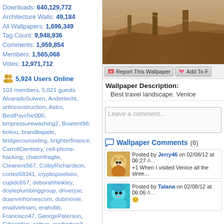Downloads: 640,129,772
Architecture Walls: 49,184
All Wallpapers: 1,696,349
Tag Count: 9,948,936
Comments: 1,959,854
Members: 1,565,068
Votes: 12,971,712
5,924 Users Online
103 members, 5,821 guests
AlvaradoSulwen, Anderlecht, artinconstruction, Astro, BestPsychic000, bmpressurewashing2, Boatent98, boliou, brandbajade, bridgecounseling, brighterfinance, CarrollDentistry, cell-phone-hacking, chatonfragile, Cleaners567, ColbyRichardson, cortez68341, crypticpixelseo, cupidc657, deborahhinkley, doyleplumbinggroup, driverjoe, duanvinhomescom, dubmovie, enailvietnam, erahobb, Francisco47, GeorgePaterson, Gibsonfan, gotrup, guybishop3, hevenpainrelief, Iamgroottt616, ianbose22, ikcinbots, infognana, Installationvinyl11, jasonguck, JokersStash, josephfirarae, jun8888, KayaXu8, khungnhomkinhvietphon..., kinggohan, Lalina, Lamamake, leonbetappin, lertuiosq, lilla811, lirikmerch, maayash, macthanhvu, marquisbarkley
[Figure (photo): Wallpaper image showing Venice landscape - sandy/earthy tones]
Report This Wallpaper   Add To F...
Wallpaper Description:
Best travel landscape. Venice
Leave a comment...
Wallpaper Comments (6)
Posted by Jerry46 on 02/08/12 at 06:27
+1 When I visited Venice all the stree...
Posted by Talana on 02/08/12 at 06:06 A...